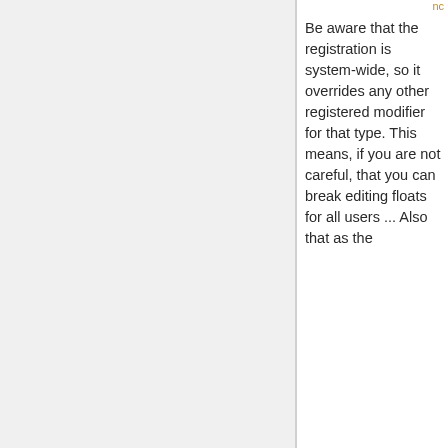nc
Be aware that the registration is system-wide, so it overrides any other registered modifier for that type. This means, if you are not careful, that you can break editing floats for all users ... Also that as the